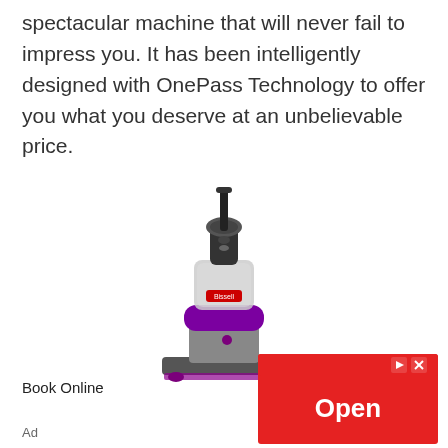spectacular machine that will never fail to impress you. It has been intelligently designed with OnePass Technology to offer you what you deserve at an unbelievable price.
[Figure (photo): A Bissell upright bagless vacuum cleaner with black and purple accents and a clear dust canister, shown from the front.]
Book Online
Ad
[Figure (screenshot): A red advertisement button with the text 'Open' in white bold text, and small icons (play and X) in the top right corner.]